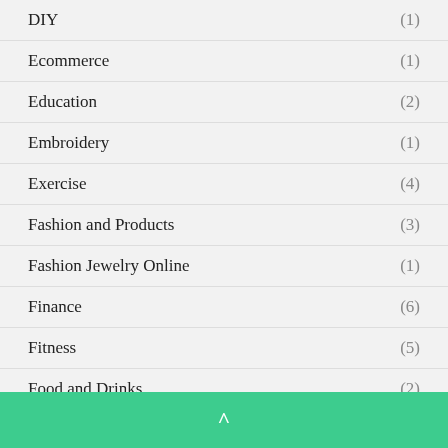DIY (1)
Ecommerce (1)
Education (2)
Embroidery (1)
Exercise (4)
Fashion and Products (3)
Fashion Jewelry Online (1)
Finance (6)
Fitness (5)
Food and Drinks (2)
^